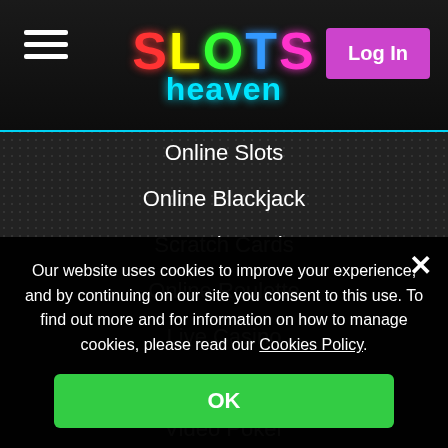[Figure (screenshot): Slots Heaven casino website header with neon logo showing SLOTS in multicolor letters and 'heaven' in cyan, hamburger menu on left, pink Log In button on right]
Online Slots
Online Blackjack
Scratch Cards
Online Roulette
Live Casino
Online Craps
Video Poker
Arcade Games
Payment Methods
Our website uses cookies to improve your experience, and by continuing on our site you consent to this use. To find out more and for information on how to manage cookies, please read our Cookies Policy.
OK